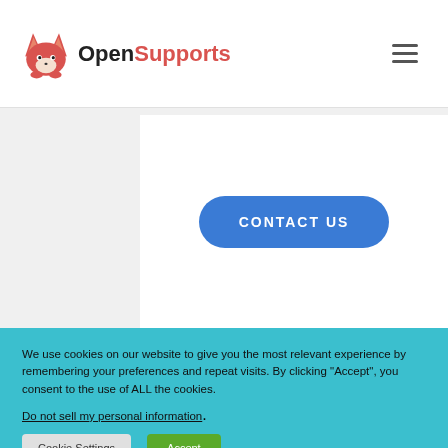OpenSupports
[Figure (illustration): Blue rounded rectangle button labeled CONTACT US centered in a white card area on a light gray background]
We use cookies on our website to give you the most relevant experience by remembering your preferences and repeat visits. By clicking “Accept”, you consent to the use of ALL the cookies.
Do not sell my personal information.
Cookie Settings  Accept